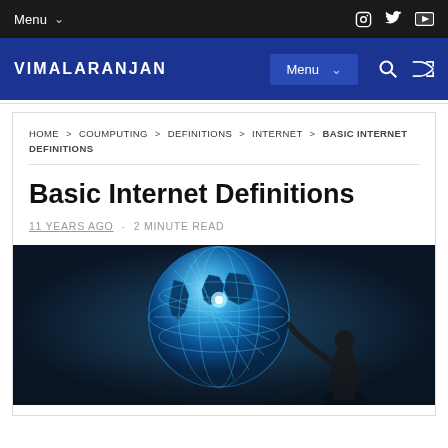Menu
VIMALARANJAN   Menu
HOME > COUMPUTING > DEFINITIONS > INTERNET > BASIC INTERNET DEFINITIONS
Basic Internet Definitions
11 YEARS AGO  -  2 MINUTE READ
[Figure (photo): A glowing blue globe/earth with network connection lines overlaid, and a businessperson silhouette in the foreground, presented on a dark background]